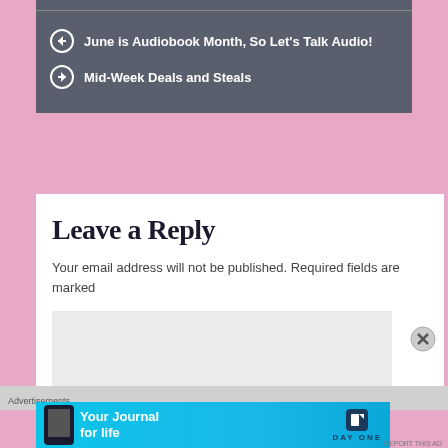June is Audiobook Month, So Let's Talk Audio!
Mid-Week Deals and Steals
Leave a Reply
Your email address will not be published. Required fields are marked
Advertisements
[Figure (infographic): DayOne 'Your Journal for life' advertisement banner with blue background, phone image and DayOne logo]